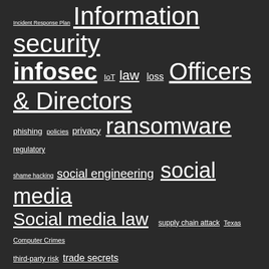Incident Response Plan  Information security  infosec  IoT  law  loss  Officers & Directors  phishing  policies  privacy  ransomware  regulatory  shame hacking  social engineering  social media  Social media law  supply chain attack  Texas Computer Crimes  third-party risk  trade secrets
META
Log in
Entries feed
Comments feed
Powered by WordPress.com.